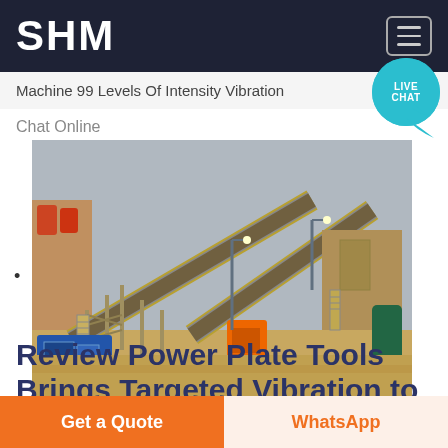SHM
Machine 99 Levels Of Intensity Vibration
Chat Online
[Figure (photo): Industrial mining or quarrying facility showing large conveyor belts, metal scaffolding, stairs, and machinery on a sandy/dirt ground under an overcast sky.]
Review Power Plate Tools Brings Targeted Vibration to
Get a Quote
WhatsApp